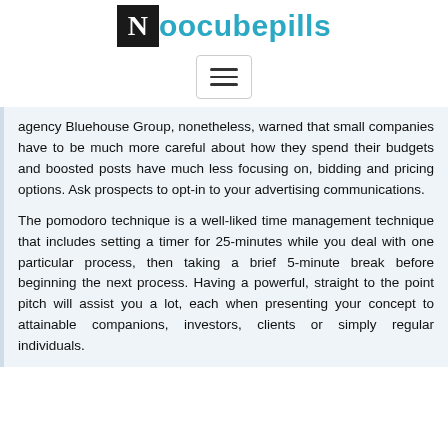Noocubepills
[Figure (other): Hamburger menu button icon with three horizontal lines]
agency Bluehouse Group, nonetheless, warned that small companies have to be much more careful about how they spend their budgets and boosted posts have much less focusing on, bidding and pricing options. Ask prospects to opt-in to your advertising communications.
The pomodoro technique is a well-liked time management technique that includes setting a timer for 25-minutes while you deal with one particular process, then taking a brief 5-minute break before beginning the next process. Having a powerful, straight to the point pitch will assist you a lot, each when presenting your concept to attainable companions, investors, clients or simply regular individuals.